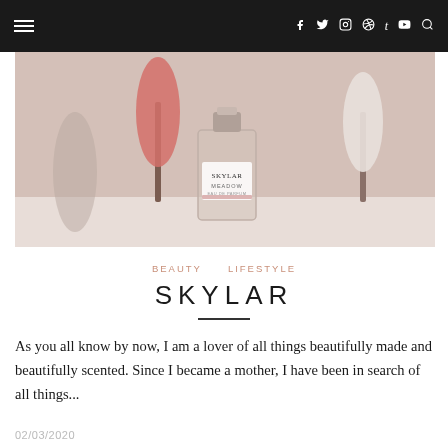Navigation bar with hamburger menu, social icons (f, t, instagram, pinterest, tumblr, youtube, search)
[Figure (photo): Photo of a Skylar Meadow perfume bottle in a glass bottle with silver cap, surrounded by pink and white bottle brush trees on a marble surface]
BEAUTY   LIFESTYLE
SKYLAR
As you all know by now, I am a lover of all things beautifully made and beautifully scented. Since I became a mother, I have been in search of all things...
02/03/2020